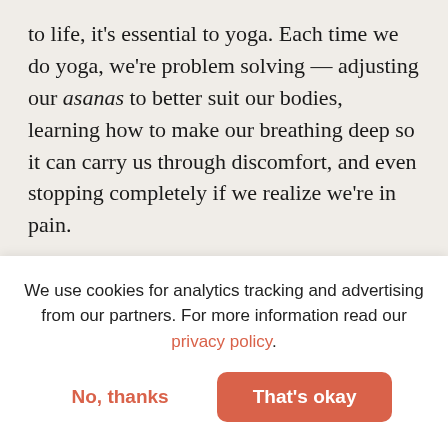to life, it's essential to yoga. Each time we do yoga, we're problem solving — adjusting our asanas to better suit our bodies, learning how to make our breathing deep so it can carry us through discomfort, and even stopping completely if we realize we're in pain.
Yoga as a form of substance-abuse treatment is a fairly new idea, especially in the US, where anything can be solved with enough medication and God. I support the 12-step method, as I know it's been a
We use cookies for analytics tracking and advertising from our partners. For more information read our privacy policy.